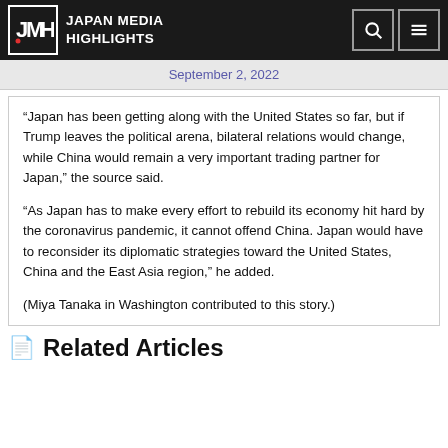Japan Media Highlights
September 2, 2022
“Japan has been getting along with the United States so far, but if Trump leaves the political arena, bilateral relations would change, while China would remain a very important trading partner for Japan,” the source said.
“As Japan has to make every effort to rebuild its economy hit hard by the coronavirus pandemic, it cannot offend China. Japan would have to reconsider its diplomatic strategies toward the United States, China and the East Asia region,” he added.
(Miya Tanaka in Washington contributed to this story.)
Related Articles